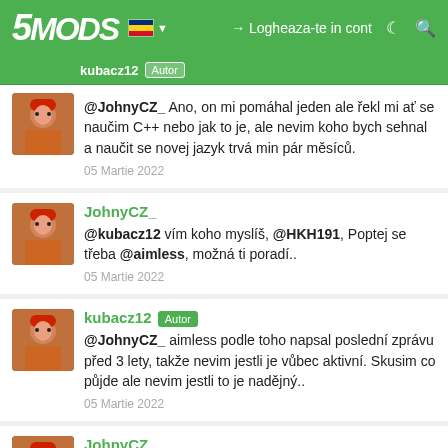5MODS | kubacz12 Autor | Logheaza-te in cont
@JohnyCZ_ Ano, on mi pomáhal jeden ale řekl mi ať se naučim C++ nebo jak to je, ale nevim koho bych sehnal a naučit se novej jazyk trvá min pár měsíců. | 05 Martie 2022
JohnyCZ_ | @kubacz12 vím koho myslíš, @HKH191, Poptej se třeba @aimless, možná ti poradí.. | 05 Martie 2022
kubacz12 Autor | @JohnyCZ_ aimless podle toho napsal poslední zprávu před 3 lety, takže nevim jestli je vůbec aktivní. Skusim co půjde ale nevim jestli to je nadějný.. | 05 Martie 2022
JohnyCZ_ | @kubacz12 okey, zkus co půjde.